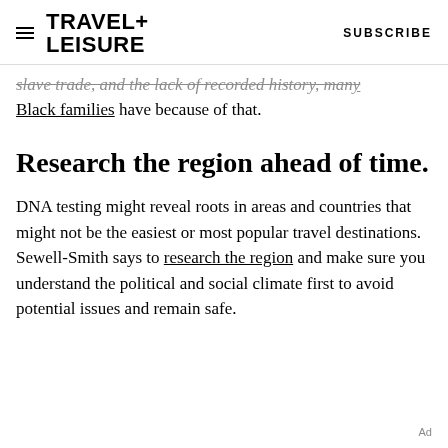TRAVEL+LEISURE   SUBSCRIBE
slave trade, and the lack of recorded history, many Black families have because of that.
Research the region ahead of time.
DNA testing might reveal roots in areas and countries that might not be the easiest or most popular travel destinations. Sewell-Smith says to research the region and make sure you understand the political and social climate first to avoid potential issues and remain safe.
Ad